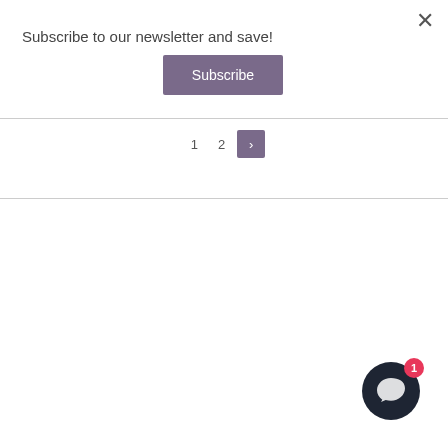×
Subscribe to our newsletter and save!
Subscribe
1  2  ›
[Figure (illustration): Chat widget icon: dark circular button with speech bubble icon and red notification badge showing '1']